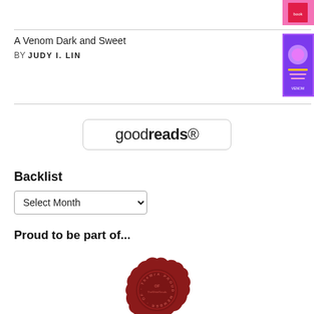[Figure (photo): Book cover thumbnail - pink/colorful cover at top right]
A Venom Dark and Sweet
BY JUDY I. LIN
[Figure (photo): Book cover for A Venom Dark and Sweet by Judy I. Lin - colorful anime-style art]
[Figure (logo): Goodreads logo in a rounded rectangle border]
Backlist
Select Month
Proud to be part of...
[Figure (illustration): Red wax seal stamp reading A PROUD MEMBER OF TheWriteReads]